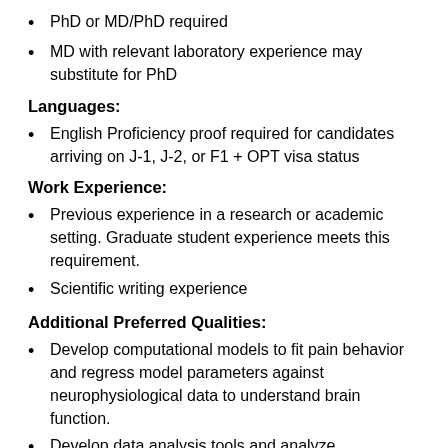PhD or MD/PhD required
MD with relevant laboratory experience may substitute for PhD
Languages:
English Proficiency proof required for candidates arriving on J-1, J-2, or F1 + OPT visa status
Work Experience:
Previous experience in a research or academic setting. Graduate student experience meets this requirement.
Scientific writing experience
Additional Preferred Qualities:
Develop computational models to fit pain behavior and regress model parameters against neurophysiological data to understand brain function.
Develop data analysis tools and analyze